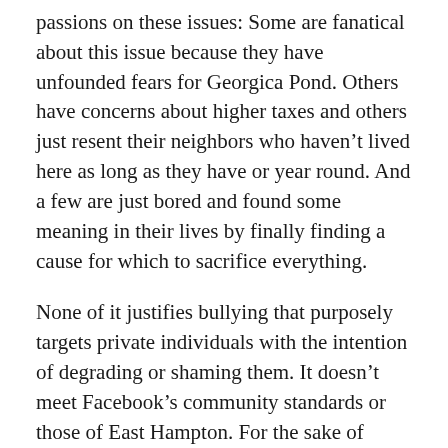passions on these issues: Some are fanatical about this issue because they have unfounded fears for Georgica Pond. Others have concerns about higher taxes and others just resent their neighbors who haven't lived here as long as they have or year round. And a few are just bored and found some meaning in their lives by finally finding a cause for which to sacrifice everything.
None of it justifies bullying that purposely targets private individuals with the intention of degrading or shaming them. It doesn't meet Facebook's community standards or those of East Hampton. For the sake of decency, these individuals should take a deep breath and reflect on their behavior.
Civilly,